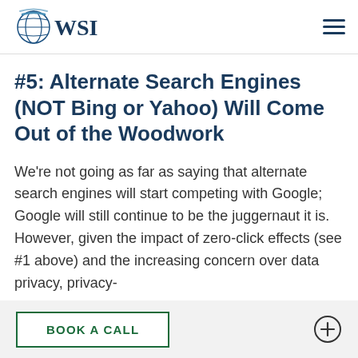WSI
#5: Alternate Search Engines (NOT Bing or Yahoo) Will Come Out of the Woodwork
We're not going as far as saying that alternate search engines will start competing with Google; Google will still continue to be the juggernaut it is. However, given the impact of zero-click effects (see #1 above) and the increasing concern over data privacy, privacy-
BOOK A CALL